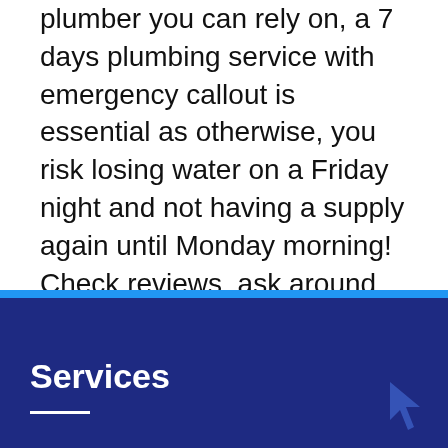plumber you can rely on, a 7 days plumbing service with emergency callout is essential as otherwise, you risk losing water on a Friday night and not having a supply again until Monday morning! Check reviews, ask around and find a plumber you trust. The health of your house might just depend on it.
Services